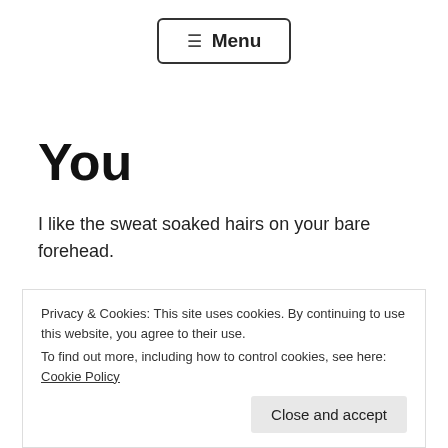≡ Menu
You
I like the sweat soaked hairs on your bare forehead.
I like it when you moan,
I like when you cry my name
Privacy & Cookies: This site uses cookies. By continuing to use this website, you agree to their use.
To find out more, including how to control cookies, see here: Cookie Policy
Close and accept